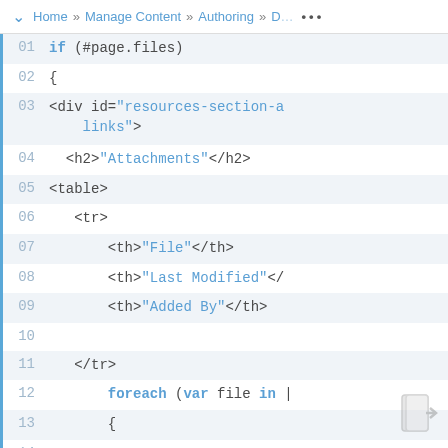Home » Manage Content » Authoring » D… …
[Figure (screenshot): Code editor screenshot showing lines 01–15 of a template/markup file with syntax highlighting. Code includes: if (#page.files), {, <div id="resources-section-a links">, <h2>"Attachments"</h2>, <table>, <tr>, <th>"File"</th>, <th>"Last Modified"</th>, <th>"Added By"</th>, (blank), </tr>, foreach (var file in ..., {, <tr>, <td class="file-na...]